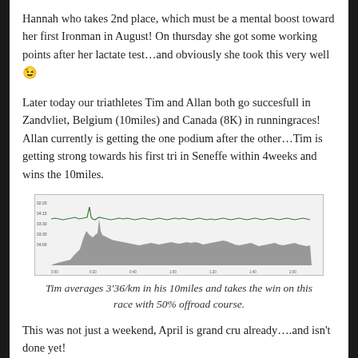Hannah who takes 2nd place, which must be a mental boost toward her first Ironman in August! On thursday she got some working points after her lactate test…and obviously she took this very well 😉
Later today our triathletes Tim and Allan both go succesfull in Zandvliet, Belgium (10miles) and Canada (8K) in runningraces! Allan currently is getting the one podium after the other…Tim is getting strong towards his first tri in Seneffe within 4weeks and wins the 10miles.
[Figure (continuous-plot): Elevation/pace profile chart showing a running race course. The chart has a light gray background with a dark gray shaded area representing elevation changes. A green line traces pace/elevation across the course. The x-axis shows distance markers and y-axis shows pace values ranging approximately from 04:00 to 02:20.]
Tim averages 3'36/km in his 10miles and takes the win on this race with 50% offroad course.
This was not just a weekend, April is grand cru already….and isn't done yet!